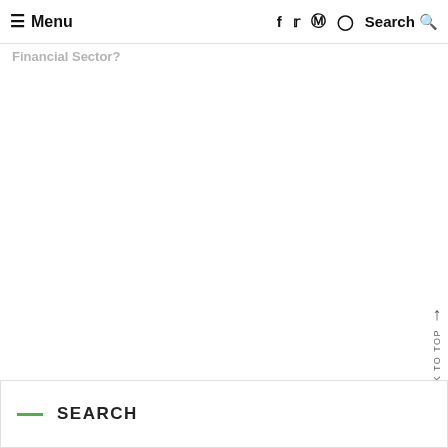≡ Menu  f  t  p  ⊙  Search Q
Financial Sector?
Back To Top
SEARCH